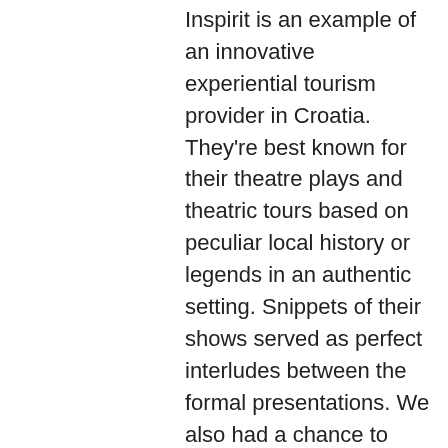Inspirit is an example of an innovative experiential tourism provider in Croatia. They're best known for their theatre plays and theatric tours based on peculiar local history or legends in an authentic setting. Snippets of their shows served as perfect interludes between the formal presentations. We also had a chance to enjoy two of their plays. Night Ghost Stories covered the renaissance castle of Svetvinčenat in a dark cloak.